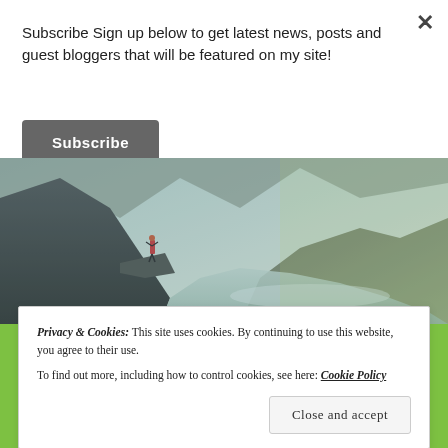×
Subscribe Sign up below to get latest news, posts and guest bloggers that will be featured on my site!
Subscribe
[Figure (photo): Aerial landscape photo of a person standing on a cliff edge with a fjord and mountains below, vintage/teal toned.]
NEW UNSANITY LOGO
Privacy & Cookies: This site uses cookies. By continuing to use this website, you agree to their use.
To find out more, including how to control cookies, see here: Cookie Policy
Close and accept